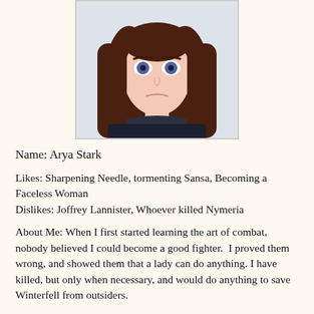[Figure (illustration): Cartoon illustration of a young woman with long dark brown hair, blue/purple eyes, pale skin, and a stern expression, wearing a dark outfit. White/light blue background.]
Name: Arya Stark
Likes: Sharpening Needle, tormenting Sansa, Becoming a Faceless Woman
Dislikes: Joffrey Lannister, Whoever killed Nymeria
About Me: When I first started learning the art of combat, nobody believed I could become a good fighter.  I proved them wrong, and showed them that a lady can do anything. I have killed, but only when necessary, and would do anything to save Winterfell from outsiders.
I plan to take over the world, lead the charge against any living